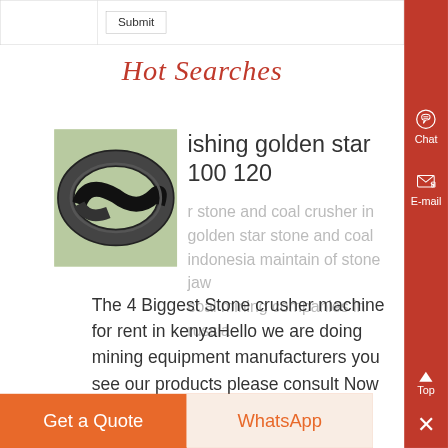|  | Submit |
| --- | --- |
Hot Searches
[Figure (photo): Photo of a black rubber O-ring or seal gasket coiled on a green surface]
ishing golden star 100 120
r stone and coal crusher in golden star stone and coal indonesia maintain of stone jaw coal mining companies in russia
The 4 Biggest Stone crusher machine for rent in kenyaHello we are doing mining equipment manufacturers you see our products please consult Now chattin Read
Chat
E-mail
Top
Get a Quote
WhatsApp